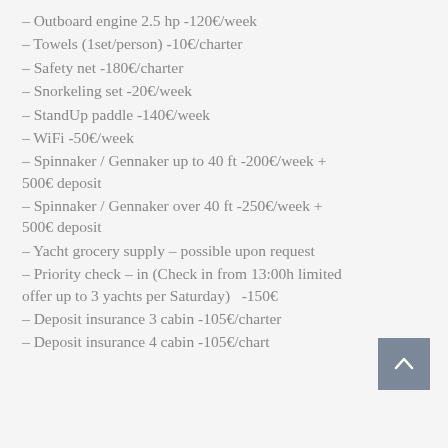– Outboard engine 2.5 hp -120€/week
– Towels (1set/person) -10€/charter
– Safety net -180€/charter
– Snorkeling set -20€/week
– StandUp paddle -140€/week
– WiFi -50€/week
– Spinnaker / Gennaker up to 40 ft -200€/week + 500€ deposit
– Spinnaker / Gennaker over 40 ft -250€/week + 500€ deposit
– Yacht grocery supply – possible upon request
– Priority check – in (Check in from 13:00h limited offer up to 3 yachts per Saturday)  -150€
– Deposit insurance 3 cabin -105€/charter
– Deposit insurance 4 cabin -105€/charter